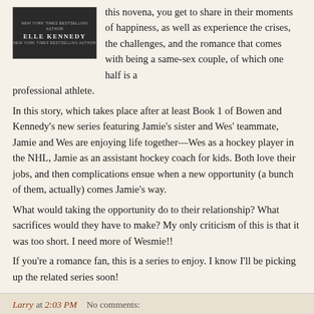[Figure (illustration): Book cover with dark background showing author name ELLE KENNEDY in white bold letters, with small text above and subtitle below in smaller font.]
this novena, you get to share in their moments of happiness, as well as experience the crises, the challenges, and the romance that comes with being a same-sex couple, of which one half is a professional athlete.
In this story, which takes place after at least Book 1 of Bowen and Kennedy's new series featuring Jamie's sister and Wes' teammate, Jamie and Wes are enjoying life together—Wes as a hockey player in the NHL, Jamie as an assistant hockey coach for kids. Both love their jobs, and then complications ensue when a new opportunity (a bunch of them, actually) comes Jamie's way.
What would taking the opportunity do to their relationship? What sacrifices would they have to make? My only criticism of this is that it was too short. I need more of Wesmie!!
If you're a romance fan, this is a series to enjoy. I know I'll be picking up the related series soon!
Larry at 2:03 PM   No comments: